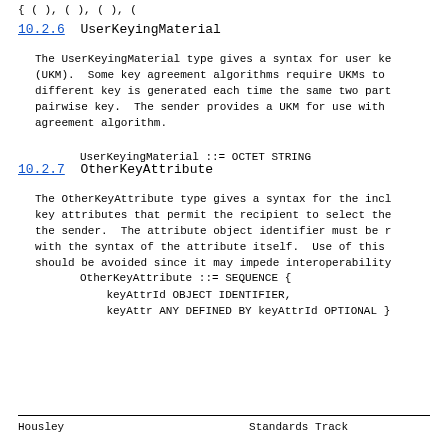{ ( ), ( ), ( ), (
10.2.6  UserKeyingMaterial
The UserKeyingMaterial type gives a syntax for user ke
(UKM).  Some key agreement algorithms require UKMs to
different key is generated each time the same two part
pairwise key.  The sender provides a UKM for use with
agreement algorithm.
UserKeyingMaterial ::= OCTET STRING
10.2.7  OtherKeyAttribute
The OtherKeyAttribute type gives a syntax for the incl
key attributes that permit the recipient to select the
the sender.  The attribute object identifier must be r
with the syntax of the attribute itself.  Use of this
should be avoided since it may impede interoperability
OtherKeyAttribute ::= SEQUENCE {
  keyAttrId OBJECT IDENTIFIER,
  keyAttr ANY DEFINED BY keyAttrId OPTIONAL }
Housley                     Standards Track